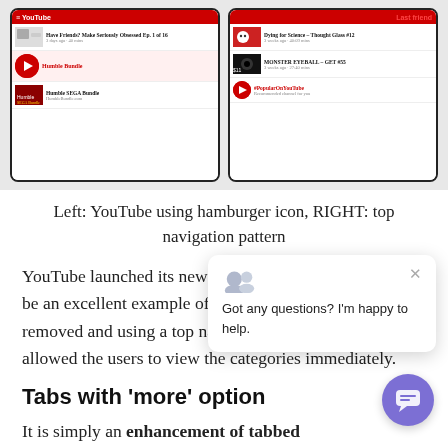[Figure (screenshot): Two phone mockup screenshots side by side: Left shows YouTube using hamburger icon navigation, Right shows YouTube using top navigation pattern with video thumbnails and channel listings.]
Left: YouTube using hamburger icon, RIGHT: top navigation pattern
YouTube launched its new UI in 2015, which proved to be an excellent example of getting the hamburger menu removed and using a top navigation pattern which allowed the users to view the categories immediately.
Tabs with ‘more’ option
It is simply an enhancement of tabbed